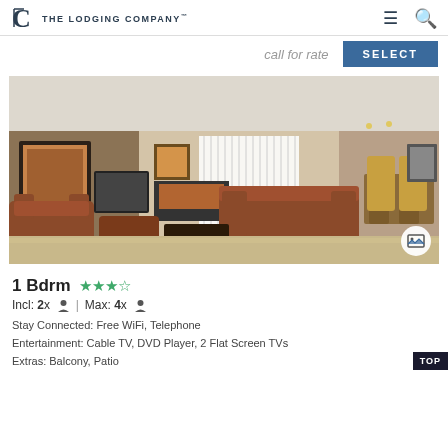The Lodging Company
call for rate
SELECT
[Figure (photo): Hotel room interior showing a living area with brown upholstered armchairs, a sofa, fireplace, flat-screen TV, artwork on walls, large window with vertical blinds, and a dining area in the background.]
1 Bdrm ★★★½
Incl: 2x 👤  |  Max: 4x 👤
Stay Connected: Free WiFi, Telephone
Entertainment: Cable TV, DVD Player, 2 Flat Screen TVs
Extras: Balcony, Patio